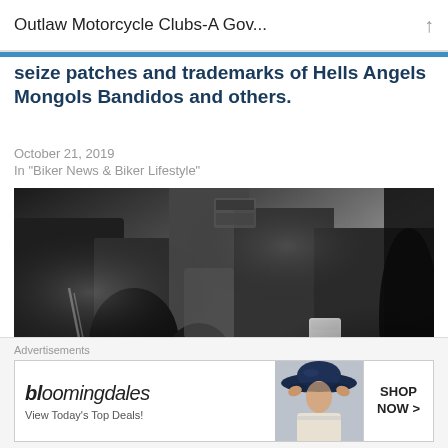Outlaw Motorcycle Clubs-A Gov...
seize patches and trademarks of Hells Angels Mongols Bandidos and others.
October 21, 2019
In "Biker News & Biker Lifestyle"
[Figure (photo): Black and white photo of motorcycle club members in leather jackets, one holding a cup, motorcycle parts visible in foreground]
Iron Order Bite off more than they can chew
Advertisements
[Figure (other): Bloomingdale's advertisement: 'View Today's Top Deals!' with image of woman in wide-brim hat, SHOP NOW > button]